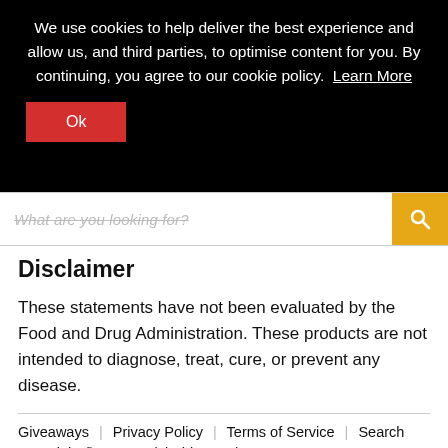We use cookies to help deliver the best experience and allow us, and third parties, to optimise content for you. By continuing, you agree to our cookie policy. Learn More
Ok
What are you looking for?
Disclaimer
These statements have not been evaluated by the Food and Drug Administration. These products are not intended to diagnose, treat, cure, or prevent any disease.
Giveaways | Privacy Policy | Terms of Service | Search
Copyright © 2022 QuickShipSupplements.
Powered by Shopify
USD